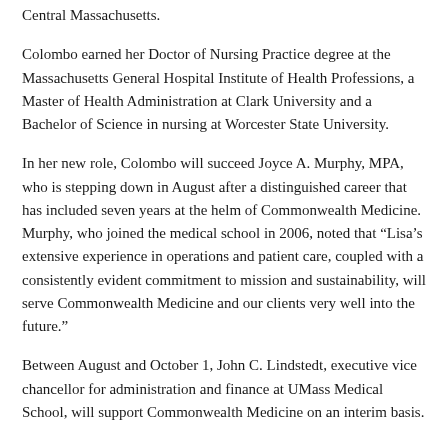Central Massachusetts.
Colombo earned her Doctor of Nursing Practice degree at the Massachusetts General Hospital Institute of Health Professions, a Master of Health Administration at Clark University and a Bachelor of Science in nursing at Worcester State University.
In her new role, Colombo will succeed Joyce A. Murphy, MPA, who is stepping down in August after a distinguished career that has included seven years at the helm of Commonwealth Medicine. Murphy, who joined the medical school in 2006, noted that “Lisa’s extensive experience in operations and patient care, coupled with a consistently evident commitment to mission and sustainability, will serve Commonwealth Medicine and our clients very well into the future.”
Between August and October 1, John C. Lindstedt, executive vice chancellor for administration and finance at UMass Medical School, will support Commonwealth Medicine on an interim basis.